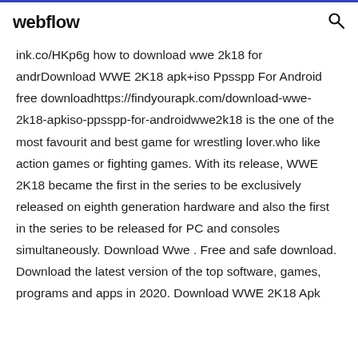webflow
ink.co/HKp6g how to download wwe 2k18 for andrDownload WWE 2K18 apk+iso Ppsspp For Android free downloadhttps://findyourapk.com/download-wwe-2k18-apkiso-ppsspp-for-androidwwe2k18 is the one of the most favourit and best game for wrestling lover.who like action games or fighting games. With its release, WWE 2K18 became the first in the series to be exclusively released on eighth generation hardware and also the first in the series to be released for PC and consoles simultaneously. Download Wwe . Free and safe download. Download the latest version of the top software, games, programs and apps in 2020. Download WWE 2K18 Apk